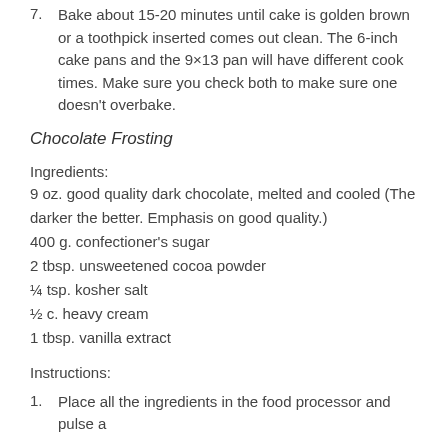7. Bake about 15-20 minutes until cake is golden brown or a toothpick inserted comes out clean. The 6-inch cake pans and the 9×13 pan will have different cook times. Make sure you check both to make sure one doesn't overbake.
Chocolate Frosting
Ingredients:
9 oz. good quality dark chocolate, melted and cooled (The darker the better. Emphasis on good quality.)
400 g. confectioner's sugar
2 tbsp. unsweetened cocoa powder
¼ tsp. kosher salt
½ c. heavy cream
1 tbsp. vanilla extract
Instructions:
1. Place all the ingredients in the food processor and pulse a